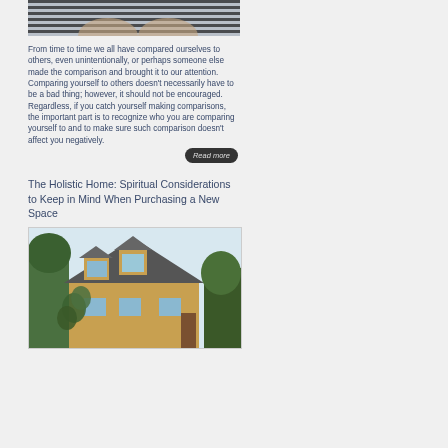[Figure (photo): Partial photo showing people in black-and-white striped shirts]
From time to time we all have compared ourselves to others, even unintentionally, or perhaps someone else made the comparison and brought it to our attention. Comparing yourself to others doesn't necessarily have to be a bad thing; however, it should not be encouraged. Regardless, if you catch yourself making comparisons, the important part is to recognize who you are comparing yourself to and to make sure such comparison doesn't affect you negatively.
Read more
The Holistic Home: Spiritual Considerations to Keep in Mind When Purchasing a New Space
[Figure (photo): Photo of a house with dormer windows, surrounded by trees and greenery]